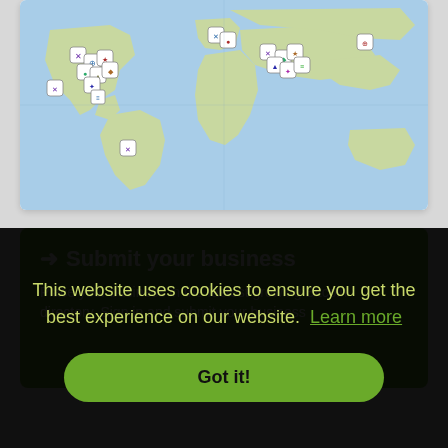[Figure (map): World map showing Bitcoin business locations marked with various pin icons across North America, Europe, Africa, Middle East, and other regions]
➜ Submit your business
Place your business in the fastest growing Bitcoin directory. Sign in and submit your business...
This website uses cookies to ensure you get the best experience on our website. Learn more
Got it!